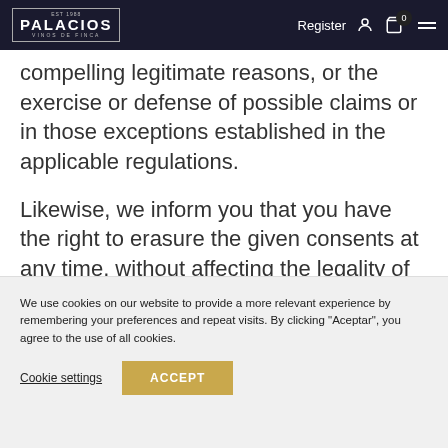PALACIOS VINOS DE FINCA — Register
compelling legitimate reasons, or the exercise or defense of possible claims or in those exceptions established in the applicable regulations.
Likewise, we inform you that you have the right to erasure the given consents at any time, without affecting the legality of the processing based on the prior consent to
We use cookies on our website to provide a more relevant experience by remembering your preferences and repeat visits. By clicking "Aceptar", you agree to the use of all cookies.
Cookie settings
ACCEPT